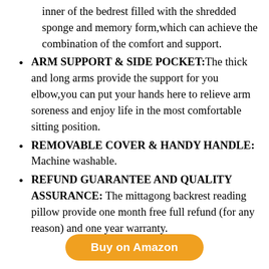inner of the bedrest filled with the shredded sponge and memory form,which can achieve the combination of the comfort and support.
ARM SUPPORT & SIDE POCKET: The thick and long arms provide the support for you elbow,you can put your hands here to relieve arm soreness and enjoy life in the most comfortable sitting position.
REMOVABLE COVER & HANDY HANDLE: Machine washable.
REFUND GUARANTEE AND QUALITY ASSURANCE: The mittagong backrest reading pillow provide one month free full refund (for any reason) and one year warranty.
Buy on Amazon